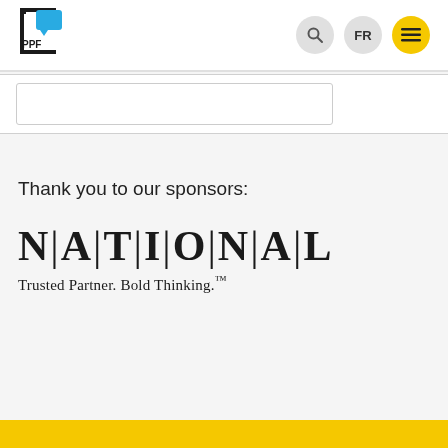[Figure (logo): PPF logo: blue speech bubble icon with bracket frame and 'PPF' text below in black brackets]
[Figure (screenshot): Navigation bar with search icon (magnifying glass), FR language toggle, and yellow hamburger menu button]
Thank you to our sponsors:
[Figure (logo): NATIONAL logo in large serif font with vertical bars between letters. Tagline: Trusted Partner. Bold Thinking.™]